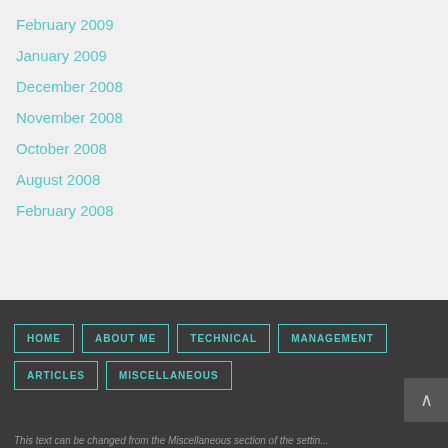February 2009
January 2009
December 2008
November 2008
October 2008
August 2008
February 2008
HOME  ABOUT ME  TECHNICAL  MANAGEMENT  ARTICLES  MISCELLANEOUS  This text can be changed from the Miscellaneous section of the settings.